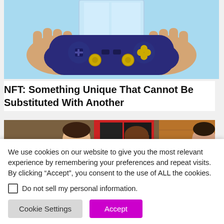[Figure (illustration): Anime-style illustration of two hands holding a dark blue game controller with gold buttons, against a light blue background]
NFT: Something Unique That Cannot Be Substituted With Another
[Figure (photo): Photo of a young man and a young woman standing on a street with a red-framed shop window in the background]
We use cookies on our website to give you the most relevant experience by remembering your preferences and repeat visits. By clicking “Accept”, you consent to the use of ALL the cookies.
Do not sell my personal information.